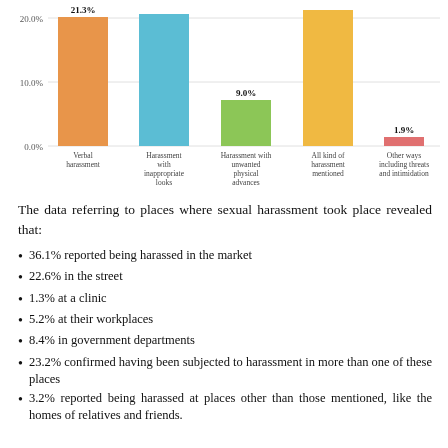[Figure (bar-chart): ]
The data referring to places where sexual harassment took place revealed that:
36.1% reported being harassed in the market
22.6% in the street
1.3% at a clinic
5.2% at their workplaces
8.4% in government departments
23.2% confirmed having been subjected to harassment in more than one of these places
3.2% reported being harassed at places other than those mentioned, like the homes of relatives and friends.